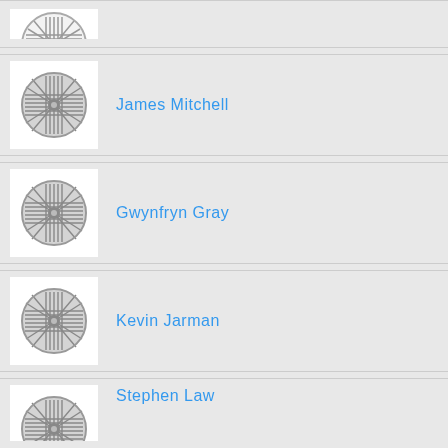[Figure (other): Generic person/profile placeholder icon (grey circular pattern with lines) - partial card at top]
[Figure (other): Generic person/profile placeholder icon (grey circular pattern with lines)]
James Mitchell
[Figure (other): Generic person/profile placeholder icon (grey circular pattern with lines)]
Gwynfryn Gray
[Figure (other): Generic person/profile placeholder icon (grey circular pattern with lines)]
Kevin Jarman
[Figure (other): Generic person/profile placeholder icon (grey circular pattern with lines)]
Stephen Law